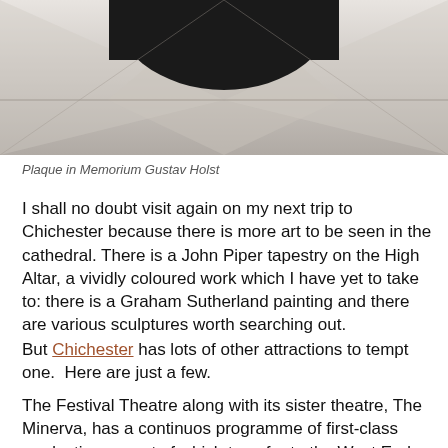[Figure (photo): Photograph showing a memorial plaque or architectural feature with a dark arched stone element against a light stone background, viewed from below.]
Plaque in Memorium Gustav Holst
I shall no doubt visit again on my next trip to Chichester because there is more art to be seen in the cathedral. There is a John Piper tapestry on the High Altar, a vividly coloured work which I have yet to take to: there is a Graham Sutherland painting and there are various sculptures worth searching out.
But Chichester has lots of other attractions to tempt one.  Here are just a few.
The Festival Theatre along with its sister theatre, The Minerva, has a continuos programme of first-class productions, most of which transfer to the West End after their run in Chichester. There are also two really